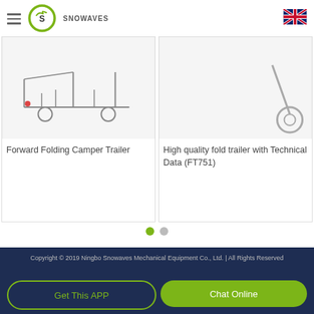[Figure (logo): Snowaves logo — circular green ring with stylized bird, text 'SNOWAVES' beside it]
[Figure (photo): Forward Folding Camper Trailer product image showing trailer frame]
Forward Folding Camper Trailer
[Figure (photo): High quality fold trailer product image showing wheel/hitch detail]
High quality fold trailer with Technical Data (FT751)
Copyright © 2019 Ningbo Snowaves Mechanical Equipment Co., Ltd. | All Rights Reserved